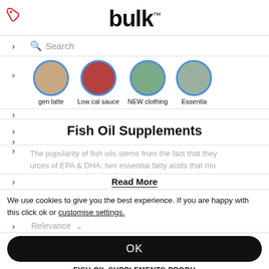bulk™
Search
[Figure (screenshot): Category icons row: gen latte, Low cal sauce, NEW clothing, Essentia]
Fish Oil Supplements
The popularity of fish oils stems from the fact that they urces of EPA & DHA; two essential fatty acids that mu
Read More
We use cookies to give you the best experience. If you are happy with this click ok or customise settings.
Relevance
OK
FISH OIL SUPPLEMENTS PRODU